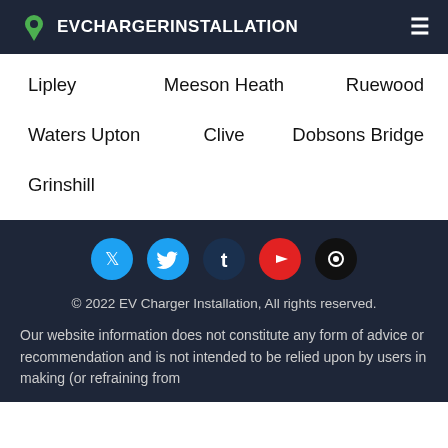EVCHARGERINSTALLATION
Lipley
Meeson Heath
Ruewood
Waters Upton
Clive
Dobsons Bridge
Grinshill
[Figure (other): Social media icons: Twitter (cyan), Tumblr (dark blue), YouTube (red), Mail (black)]
© 2022 EV Charger Installation, All rights reserved.
Our website information does not constitute any form of advice or recommendation and is not intended to be relied upon by users in making (or refraining from